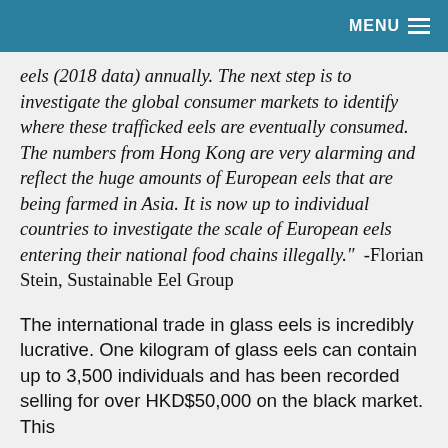MENU
eels (2018 data) annually. The next step is to investigate the global consumer markets to identify where these trafficked eels are eventually consumed. The numbers from Hong Kong are very alarming and reflect the huge amounts of European eels that are being farmed in Asia. It is now up to individual countries to investigate the scale of European eels entering their national food chains illegally."  -Florian Stein, Sustainable Eel Group
The international trade in glass eels is incredibly lucrative. One kilogram of glass eels can contain up to 3,500 individuals and has been recorded selling for over HKD$50,000 on the black market. This